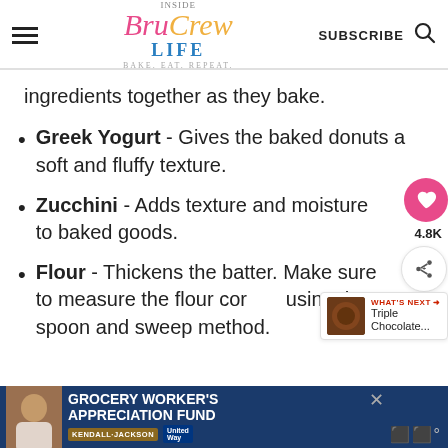Inside BruCrew Life - BAKE. EAT. REPEAT. | SUBSCRIBE
ingredients together as they bake.
Greek Yogurt - Gives the baked donuts a soft and fluffy texture.
Zucchini - Adds texture and moisture to baked goods.
Flour - Thickens the batter. Make sure to measure the flour correctly using the spoon and sweep method.
[Figure (other): Advertisement banner: Grocery Worker's Appreciation Fund featuring Kendall-Jackson and United Way logos]
WHAT'S NEXT → Triple Chocolate...